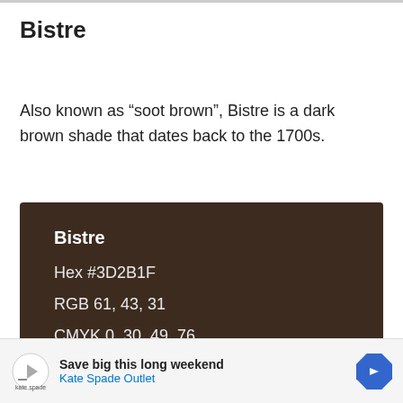Bistre
Also known as “soot brown”, Bistre is a dark brown shade that dates back to the 1700s.
[Figure (infographic): Color swatch for Bistre showing a dark brown rectangle with color name, hex code, RGB and CMYK values. Bistre, Hex #3D2B1F, RGB 61, 43, 31, CMYK 0, 30, 49, 76]
Bitter